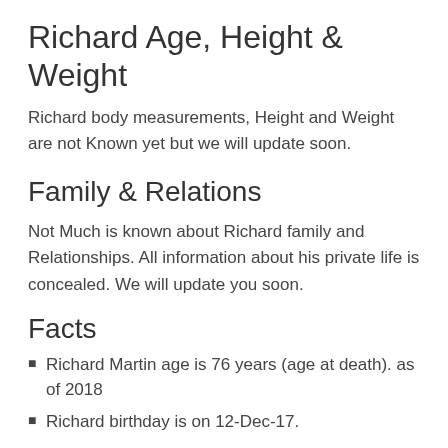Richard Age, Height & Weight
Richard body measurements, Height and Weight are not Known yet but we will update soon.
Family & Relations
Not Much is known about Richard family and Relationships. All information about his private life is concealed. We will update you soon.
Facts
Richard Martin age is 76 years (age at death). as of 2018
Richard birthday is on 12-Dec-17.